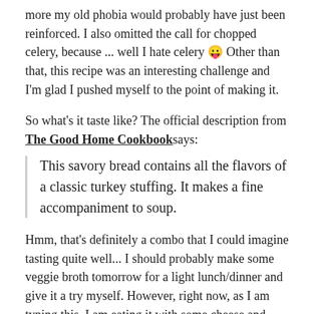more my old phobia would probably have just been reinforced. I also omitted the call for chopped celery, because ... well I hate celery 😛 Other than that, this recipe was an interesting challenge and I'm glad I pushed myself to the point of making it.
So what's it taste like? The official description from The Good Home Cookbook says:
This savory bread contains all the flavors of a classic turkey stuffing. It makes a fine accompaniment to soup.
Hmm, that's definitely a combo that I could imagine tasting quite well... I should probably make some veggie broth tomorrow for a light lunch/dinner and give it a try myself. However, right now, as I am typing this, I am eating it with some cheese and pepper sauce. If this bread was a first date, it wouldn't be the kind that you rush home to call your girls about, but it definitely had a lot to say and...